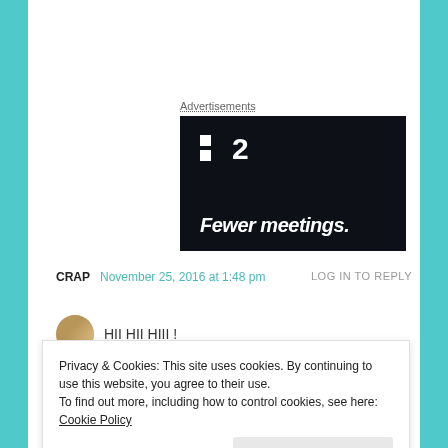Advertisements
[Figure (other): Dark advertisement banner for a product called '2' with tagline 'Fewer meetings.' on black background]
CRAP  November 25, 2016 at 1:48 pm  LOG IN TO REPLY
HII HII HIII !
Privacy & Cookies: This site uses cookies. By continuing to use this website, you agree to their use.
To find out more, including how to control cookies, see here: Cookie Policy
Close and accept